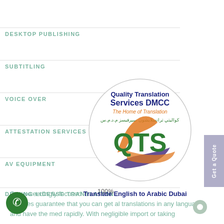DESKTOP PUBLISHING
SUBTITLING
VOICE OVER
ATTESTATION SERVICES
AV EQUIPMENT
DRIVING LICENSE TRANSLATION
[Figure (logo): Quality Translation Services DMCC circular logo with QTS letters in green, Arabic text, orange and purple swoosh design. Tagline: The Home of Translation]
100%
Our exceedingly focused Translate English to Arabic Dubai services guarantee that you can get al translations in any language and have the med rapidly. With negligible import or taking